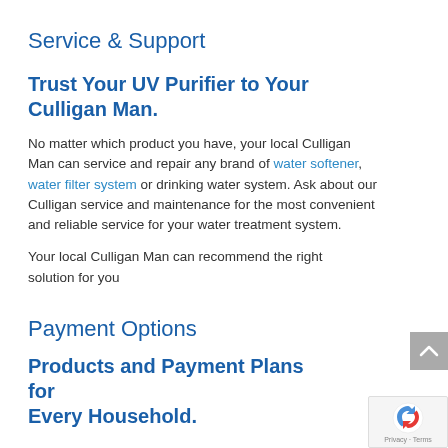Service & Support
Trust Your UV Purifier to Your Culligan Man.
No matter which product you have, your local Culligan Man can service and repair any brand of water softener, water filter system or drinking water system. Ask about our Culligan service and maintenance for the most convenient and reliable service for your water treatment system.
Your local Culligan Man can recommend the right solution for you
Payment Options
Products and Payment Plans for Every Household.